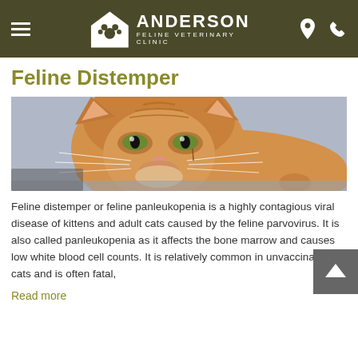ANDERSON FELINE VETERINARY CLINIC
Feline Distemper
[Figure (photo): Close-up photograph of an orange tabby cat lying down, looking directly at the camera with a slightly scruffy appearance.]
Feline distemper or feline panleukopenia is a highly contagious viral disease of kittens and adult cats caused by the feline parvovirus. It is also called panleukopenia as it affects the bone marrow and causes low white blood cell counts. It is relatively common in unvaccinated cats and is often fatal,
Read more